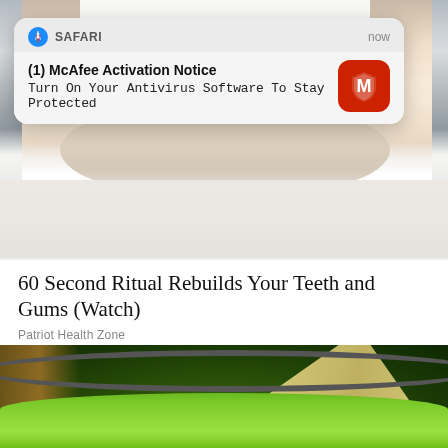[Figure (photo): Close-up photo of a person's lower face showing teeth and chin, wearing a white shirt, used as background behind a notification card]
SAFARI
now
(1) McAfee Activation Notice
Turn On Your Antivirus Software To Stay Protected
60 Second Ritual Rebuilds Your Teeth and Gums (Watch)
Patriot Health Zone
[Figure (photo): Close-up photo of a bowl of bright green powder (matcha or similar) with a wooden spoon or spatula]